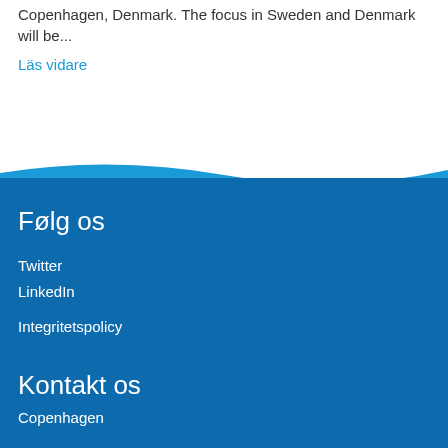Copenhagen, Denmark. The focus in Sweden and Denmark will be...
Läs vidare
Følg os
Twitter
LinkedIn
Integritetspolicy
Kontakt os
Copenhagen